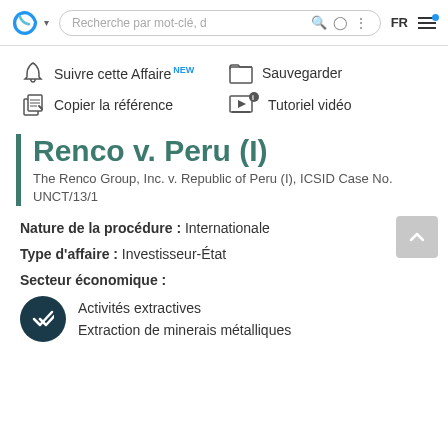[Figure (screenshot): Navigation bar with logo, search field, and icons including FR language toggle and menu]
Suivre cette Affaire NEW  Sauvegarder
Copier la référence  Tutoriel vidéo
Renco v. Peru (I)
The Renco Group, Inc. v. Republic of Peru (I), ICSID Case No. UNCT/13/1
Nature de la procédure : Internationale
Type d'affaire : Investisseur-État
Secteur économique :
Activités extractives
Extraction de minerais métalliques